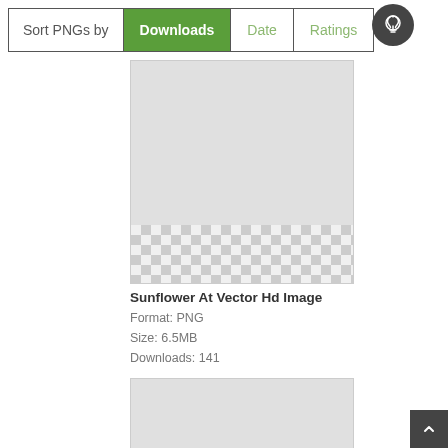| Sort PNGs by | Downloads | Date | Ratings |
| --- | --- | --- | --- |
[Figure (screenshot): Preview image box showing a sunflower PNG with transparent checkerboard pattern at bottom]
Sunflower At Vector Hd Image
Format: PNG
Size: 6.5MB
Downloads: 141
[Figure (screenshot): Second preview image box (partially visible) showing another PNG with checkerboard transparency pattern]